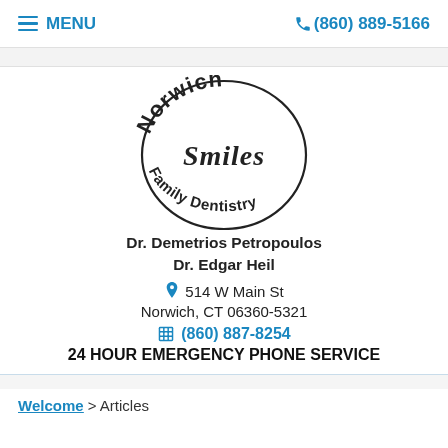≡ MENU   (860) 889-5166
[Figure (logo): Norwich Smiles Family Dentistry circular logo in script/decorative font with arched text]
Dr. Demetrios Petropoulos
Dr. Edgar Heil
📍 514 W Main St
Norwich, CT 06360-5321
📠 (860) 887-8254
24 HOUR EMERGENCY PHONE SERVICE
Welcome > Articles